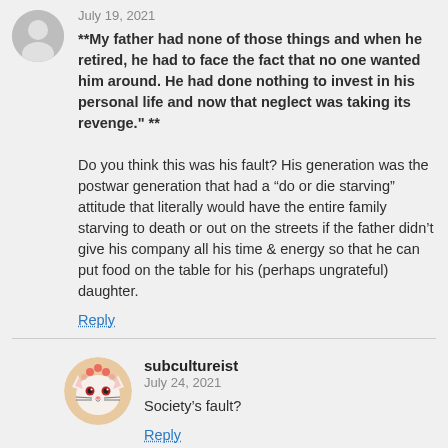July 19, 2021
**My father had none of those things and when he retired, he had to face the fact that no one wanted him around. He had done nothing to invest in his personal life and now that neglect was taking its revenge." **

Do you think this was his fault? His generation was the postwar generation that had a “do or die starving” attitude that literally would have the entire family starving to death or out on the streets if the father didn’t give his company all his time & energy so that he can put food on the table for his (perhaps ungrateful) daughter.
Reply
subcultureist
July 24, 2021
Society’s fault?
Reply